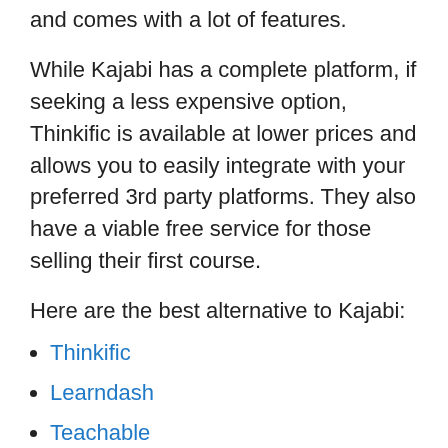and comes with a lot of features.
While Kajabi has a complete platform, if seeking a less expensive option, Thinkific is available at lower prices and allows you to easily integrate with your preferred 3rd party platforms. They also have a viable free service for those selling their first course.
Here are the best alternative to Kajabi:
Thinkific
Learndash
Teachable
Podia
Udemy